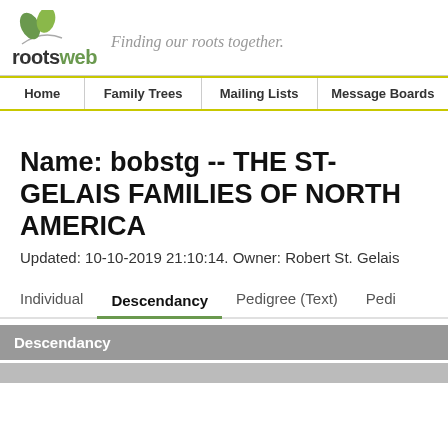[Figure (logo): RootsWeb logo with two green leaves above a curved stem, and tagline 'Finding our roots together.' in italic serif]
Home | Family Trees | Mailing Lists | Message Boards
Name: bobstg -- THE ST-GELAIS FAMILIES OF NORTH AMERICA
Updated: 10-10-2019 21:10:14. Owner: Robert St. Gelais
Individual   Descendancy   Pedigree (Text)   Pedi
Descendancy